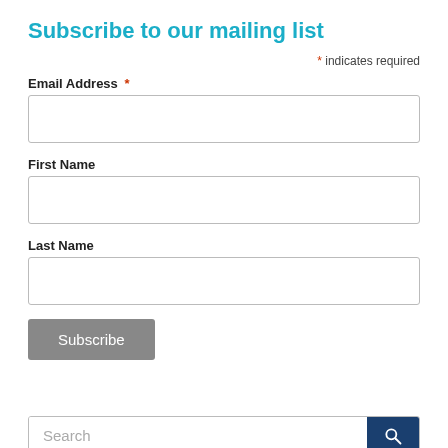Subscribe to our mailing list
* indicates required
Email Address *
First Name
Last Name
Subscribe
Search
RECENT POSTS